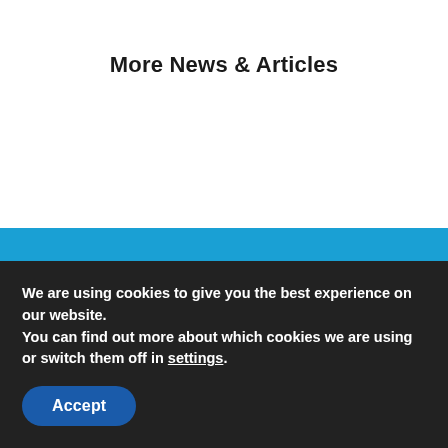More News & Articles
Credentials & As Seen
We are using cookies to give you the best experience on our website.
You can find out more about which cookies we are using or switch them off in settings.
Accept